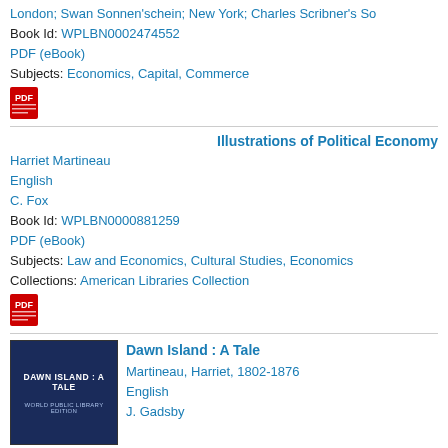London; Swan Sonnen'schein; New York; Charles Scribner's Sons
Book Id: WPLBN0002474552
PDF (eBook)
Subjects: Economics, Capital, Commerce
[Figure (other): PDF icon (red Adobe PDF symbol)]
Illustrations of Political Economy
Harriet Martineau
English
C. Fox
Book Id: WPLBN0000881259
PDF (eBook)
Subjects: Law and Economics, Cultural Studies, Economics
Collections: American Libraries Collection
[Figure (other): PDF icon (red Adobe PDF symbol)]
[Figure (other): Book cover image: Dawn Island: A Tale, dark navy background with white text, World Public Library Edition]
Dawn Island : A Tale
Martineau, Harriet, 1802-1876
English
J. Gadsby